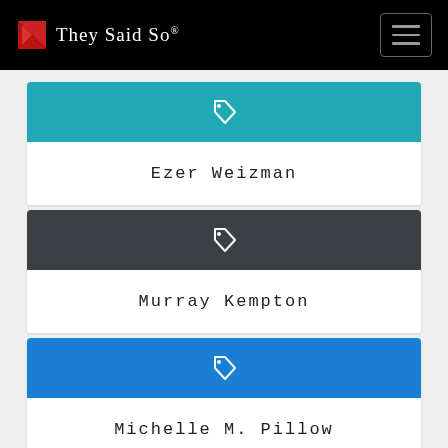They Said So®
Ezer Weizman
Murray Kempton
Michelle M. Pillow